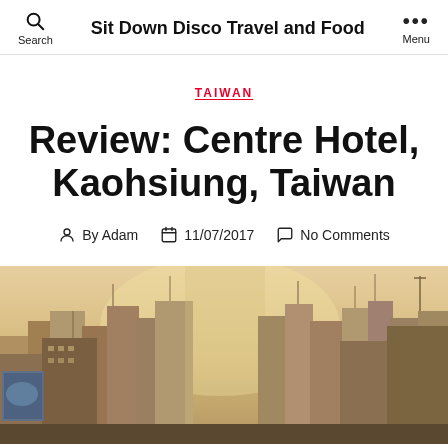Search  Sit Down Disco Travel and Food  Menu
TAIWAN
Review: Centre Hotel, Kaohsiung, Taiwan
By Adam  11/07/2017  No Comments
[Figure (photo): Cityscape photo of Kaohsiung, Taiwan showing high-rise buildings with urban signage under a hazy sky]